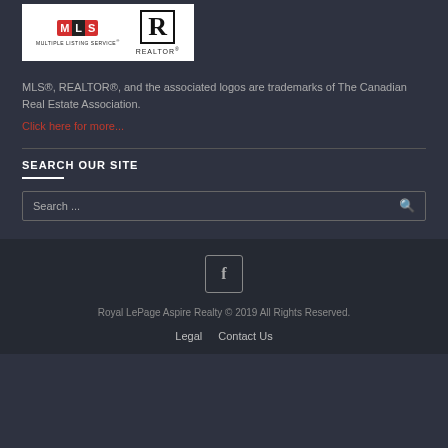[Figure (logo): MLS Multiple Listing Service and REALTOR logos on white background]
MLS®, REALTOR®, and the associated logos are trademarks of The Canadian Real Estate Association.
Click here for more...
SEARCH OUR SITE
Search ...
[Figure (logo): Facebook icon in rounded square]
Royal LePage Aspire Realty © 2019 All Rights Reserved.
Legal   Contact Us